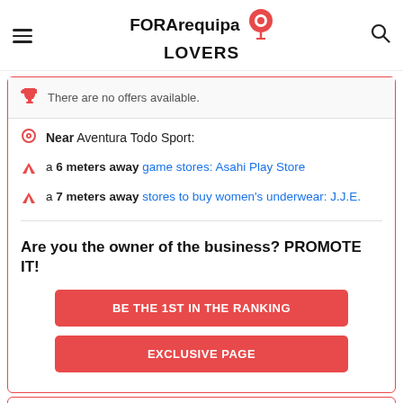FOR Arequipa LOVERS [logo with pin icon and search icon]
There are no offers available.
Near Aventura Todo Sport:
a 6 meters away game stores: Asahi Play Store
a 7 meters away stores to buy women's underwear: J.J.E.
Are you the owner of the business? PROMOTE IT!
BE THE 1ST IN THE RANKING
EXCLUSIVE PAGE